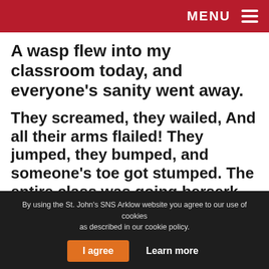MENU
A wasp flew into my classroom today, and everyone's sanity went away.
They screamed, they wailed, And all their arms flailed! They jumped, they bumped, and someone's toe got stumped. The entire class was going berserk, and Miss couldn't get us to do any work.
And that's the day a wasp flew into
By using the St. John's SNS Arklow website you agree to our use of cookies as described in our cookie policy.